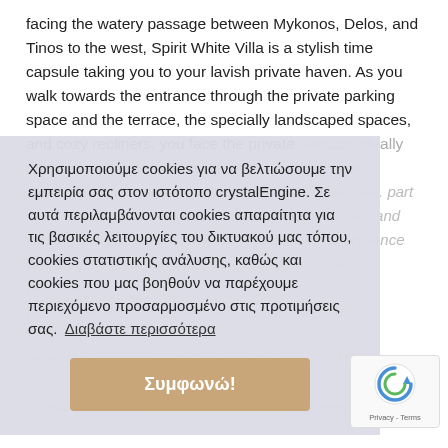facing the watery passage between Mykonos, Delos, and Tinos to the west, Spirit White Villa is a stylish time capsule taking you to your lavish private haven. As you walk towards the entrance through the private parking space and the terrace, the specially landscaped spaces, and cozy recliners, you face the private Jacuzzi, ideally oriented to combine relaxing swims with views of
Χρησιμοποιούμε cookies για να βελτιώσουμε την εμπειρία σας στον ιστότοπο crystalEngine. Σε αυτά περιλαμβάνονται cookies απαραίτητα για τις βασικές λειτουργίες του δικτυακού μας τόπου, cookies στατιστικής ανάλυσης, καθώς και cookies που μας βοηθούν να παρέχουμε περιεχόμενο προσαρμοσμένο στις προτιμήσεις σας. Διαβάστε περισσότερα
Συμφωνώ!
surrounding nature and the breathtaking Aegean Sea. part of s lituated on a hillsi providing total privacy, d ones and comfort. As you enter today, the ultimate indoor opulence blending the Cycladic white, fine marbles, and wood welcomes you, all set skillfully in the spacious and luxuriously furnished living room, the ergonomic kitchen, and the cozy spot circling a fireplace. On the first floor, there is also a communal bath
The second-level bedrooms are ergonomically designe